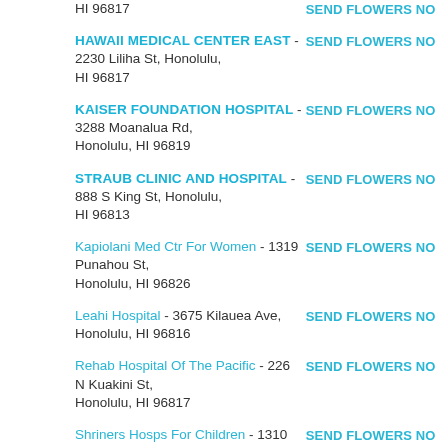HI 96817 | SEND FLOWERS NOW
HAWAII MEDICAL CENTER EAST - 2230 Liliha St, Honolulu, HI 96817 | SEND FLOWERS NOW
KAISER FOUNDATION HOSPITAL - 3288 Moanalua Rd, Honolulu, HI 96819 | SEND FLOWERS NOW
STRAUB CLINIC AND HOSPITAL - 888 S King St, Honolulu, HI 96813 | SEND FLOWERS NOW
Kapiolani Med Ctr For Women - 1319 Punahou St, Honolulu, HI 96826 | SEND FLOWERS NOW
Leahi Hospital - 3675 Kilauea Ave, Honolulu, HI 96816 | SEND FLOWERS NOW
Rehab Hospital Of The Pacific - 226 N Kuakini St, Honolulu, HI 96817 | SEND FLOWERS NOW
Shriners Hosps For Children - 1310 Punahou St, Honolulu, HI 96826 | SEND FLOWERS NOW
Tripler Army Medical Center - , Honolulu, HI 96859 | SEND FLOWERS NOW
Kapiolani Med Ctr For Women - 1319 Punahou St, Honolulu, HI 96826 | SEND FLOWERS NOW
Leahi Hospital - 3675 Kilauea Ave, Honolulu, HI 96816 | SEND FLOWERS NOW